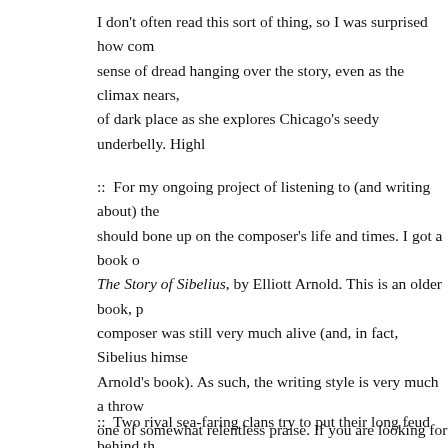I don't often read this sort of thing, so I was surprised how com- sense of dread hanging over the story, even as the climax nears, of dark place as she explores Chicago's seedy underbelly. Highl
:: For my ongoing project of listening to (and writing about) the should bone up on the composer's life and times. I got a book o The Story of Sibelius, by Elliott Arnold. This is an older book, p composer was still very much alive (and, in fact, Sibelius himse Arnold's book). As such, the writing style is very much a throw one of somewhat relentless praise. If you are looking for a critic you won't find that here. But I just wanted a readable treatment and this is certainly that. In fact, I found the book valuable for it events in Sibelius's homeland, Finland, a country which wasn't Sibelius was born. Sibelius was a highly nationalistic composer Finnish folk material in his works), so this book gives a good se Sibelius's attitudes and patriotic fervor.
:: Two rival sea-faring clans try to put their long feud behind th nobles in Daughter of the Deep, a fantasy novel by Lina C. Ama